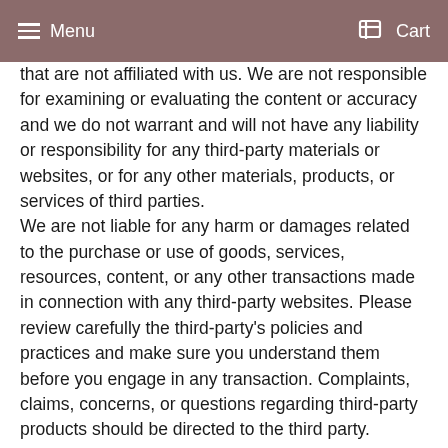Menu  Cart
that are not affiliated with us. We are not responsible for examining or evaluating the content or accuracy and we do not warrant and will not have any liability or responsibility for any third-party materials or websites, or for any other materials, products, or services of third parties.
We are not liable for any harm or damages related to the purchase or use of goods, services, resources, content, or any other transactions made in connection with any third-party websites. Please review carefully the third-party's policies and practices and make sure you understand them before you engage in any transaction. Complaints, claims, concerns, or questions regarding third-party products should be directed to the third party.
SECTION 9 - USER COMMENTS, FEEDBACK AND OTHER SUBMISSIONS
If at our request, you send certain specific submissions (for example contest entries) or without a request from us you send creative ideas, suggestions, proposals, plans, or other materials, whether online, by email, by postal mail, or otherwise (collectively,